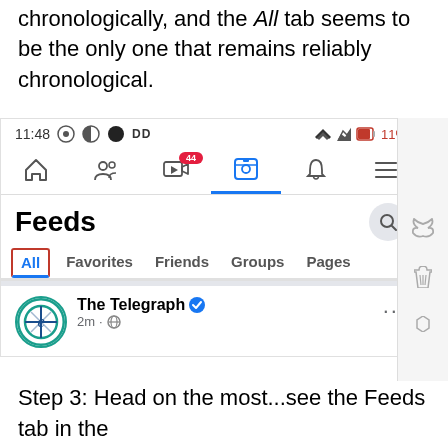chronologically, and the All tab seems to be the only one that remains reliably chronological.
[Figure (screenshot): Facebook app screenshot showing status bar (11:48, icons, 11% battery), navigation bar with home/friends/video/feeds/notifications/menu icons (feeds tab active with notification badge 44), Feeds page header with search icon, tab bar showing All (selected with red border and blue underline), Favorites, Friends, Groups, Pages, and The Telegraph post with verified badge, showing 2m ago with globe icon]
screenshot
Step 3: Head on the most...see the Feeds tab in the